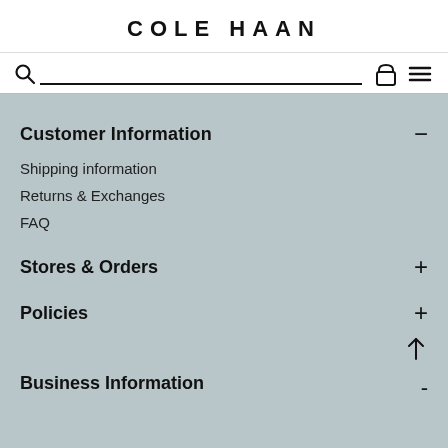COLE HAAN
[Figure (screenshot): Search bar with search icon, bag icon, and hamburger menu icon]
Customer Information
Shipping information
Returns & Exchanges
FAQ
Stores & Orders
Policies
Business Information